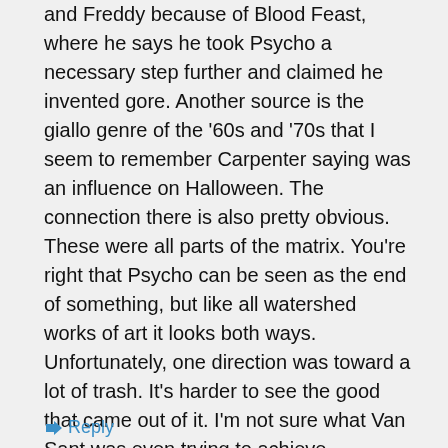and Freddy because of Blood Feast, where he says he took Psycho a necessary step further and claimed he invented gore. Another source is the giallo genre of the '60s and '70s that I seem to remember Carpenter saying was an influence on Halloween. The connection there is also pretty obvious. These were all parts of the matrix. You're right that Psycho can be seen as the end of something, but like all watershed works of art it looks both ways. Unfortunately, one direction was toward a lot of trash. It's harder to see the good that came out of it. I'm not sure what Van Sant was even trying to achieve.
↳ Reply